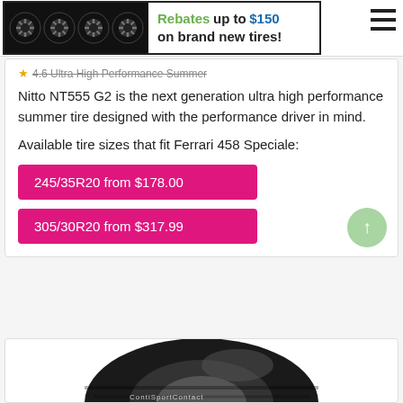[Figure (infographic): Banner advertisement: four tire wheel icons on left, text 'Rebates up to $150 on brand new tires!' on right. Hamburger menu icon on far right.]
4.6 Ultra High Performance Summer
Nitto NT555 G2 is the next generation ultra high performance summer tire designed with the performance driver in mind.
Available tire sizes that fit Ferrari 458 Speciale:
245/35R20 from $178.00
305/30R20 from $317.99
[Figure (photo): Continental tire (ContiSportContact) viewed from front angle, showing tread and sidewall, partially cropped at bottom of page.]